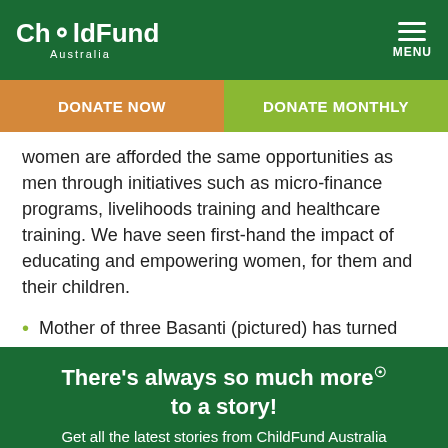ChildFund Australia | MENU
DONATE NOW | DONATE MONTHLY
women are afforded the same opportunities as men through initiatives such as micro-finance programs, livelihoods training and healthcare training. We have seen first-hand the impact of educating and empowering women, for them and their children.
Mother of three Basanti (pictured) has turned
There’s always so much more® to a story! Get all the latest stories from ChildFund Australia
SUBSCRIBE